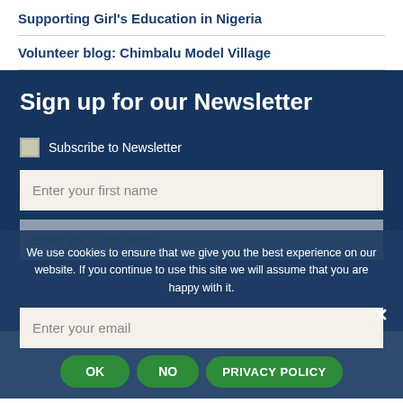Supporting Girl's Education in Nigeria
Volunteer blog: Chimbalu Model Village
Sign up for our Newsletter
Subscribe to Newsletter
Enter your first name
We use cookies to ensure that we give you the best experience on our website. If you continue to use this site we will assume that you are happy with it.
Enter your email
OK | NO | PRIVACY POLICY